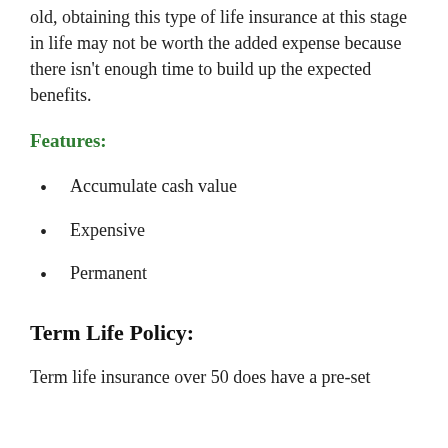old, obtaining this type of life insurance at this stage in life may not be worth the added expense because there isn't enough time to build up the expected benefits.
Features:
Accumulate cash value
Expensive
Permanent
Term Life Policy:
Term life insurance over 50 does have a pre-set